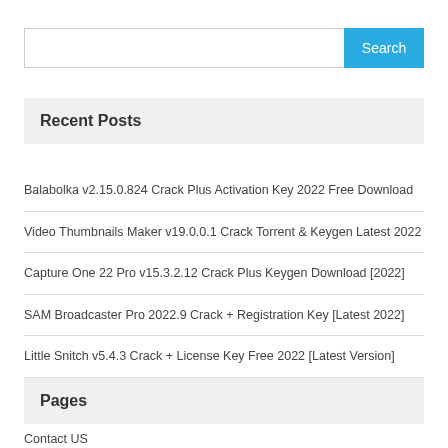Search
Recent Posts
Balabolka v2.15.0.824 Crack Plus Activation Key 2022 Free Download
Video Thumbnails Maker v19.0.0.1 Crack Torrent & Keygen Latest 2022
Capture One 22 Pro v15.3.2.12 Crack Plus Keygen Download [2022]
SAM Broadcaster Pro 2022.9 Crack + Registration Key [Latest 2022]
Little Snitch v5.4.3 Crack + License Key Free 2022 [Latest Version]
Pages
Contact US